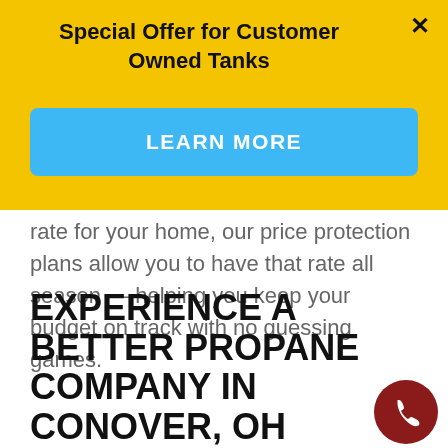Special Offer for Customer Owned Tanks
LEARN MORE
rate for your home, our price protection plans allow you to have that rate all season — helping you keep your budget on track with no guessing games.
EXPERIENCE A BETTER PROPANE COMPANY IN CONOVER, OH
These services are part of our Victory Advantage, which also includes premi fuel and the best prices around